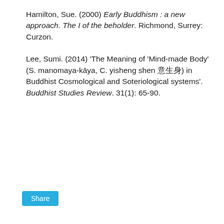Hamilton, Sue. (2000) Early Buddhism : a new approach. The I of the beholder. Richmond, Surrey: Curzon.
Lee, Sumi. (2014) 'The Meaning of 'Mind-made Body' (S. manomaya-kāya, C. yisheng shen 意生身) in Buddhist Cosmological and Soteriological systems'. Buddhist Studies Review. 31(1): 65-90.